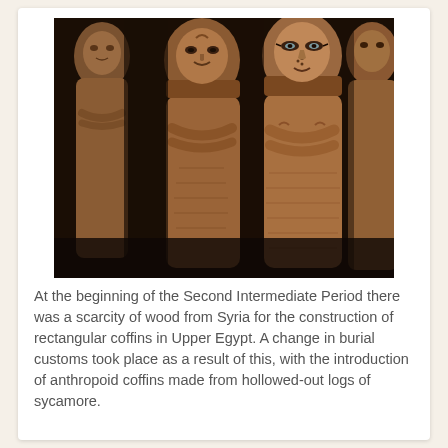[Figure (photo): Photograph of ancient Egyptian anthropoid coffins (sarcophagi) displayed side by side, showing carved human faces and bodies with crossed arms, made of dark reddish-brown wood.]
At the beginning of the Second Intermediate Period there was a scarcity of wood from Syria for the construction of rectangular coffins in Upper Egypt. A change in burial customs took place as a result of this, with the introduction of anthropoid coffins made from hollowed-out logs of sycamore.